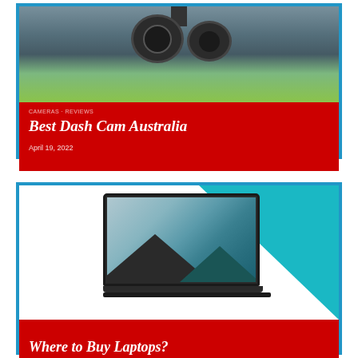[Figure (photo): Close-up photo of dash cam device mounted, showing camera lenses against an outdoor background with trees]
Best Dash Cam Australia
April 19, 2022
[Figure (photo): Laptop (Microsoft Surface) shown open on a teal and white background, displaying a scenic landscape wallpaper]
Where to Buy Laptops?